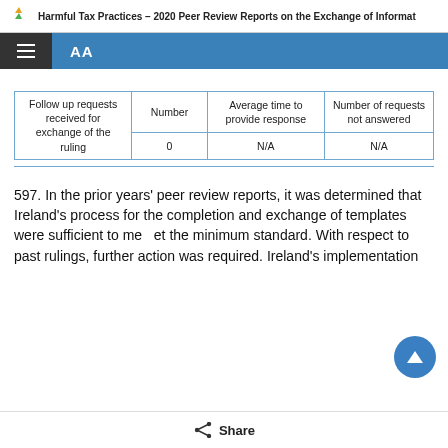Harmful Tax Practices – 2020 Peer Review Reports on the Exchange of Informat
| Follow up requests received for exchange of the ruling | Number | Average time to provide response | Number of requests not answered |
| --- | --- | --- | --- |
|  | 0 | N/A | N/A |
597. In the prior years' peer review reports, it was determined that Ireland's process for the completion and exchange of templates were sufficient to meet the minimum standard. With respect to past rulings, further action was required. Ireland's implementation
Share